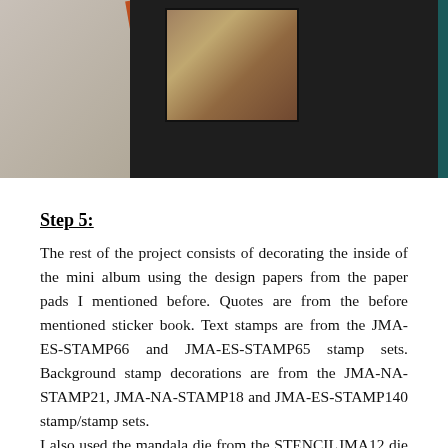[Figure (photo): Top-down photo showing a dark black album/box with a floral-patterned square inset, a teal edge, on a stone/concrete surface with an orange ribbon.]
Step 5:
The rest of the project consists of decorating the inside of the mini album using the design papers from the paper pads I mentioned before. Quotes are from the before mentioned sticker book. Text stamps are from the JMA-ES-STAMP66 and JMA-ES-STAMP65 stamp sets. Background stamp decorations are from the JMA-NA-STAMP21, JMA-NA-STAMP18 and JMA-ES-STAMP140 stamp/stamp sets.
I also used the mandala die from the STENCILJMA12 die set to create a tag that fits into the page pocket that I created.